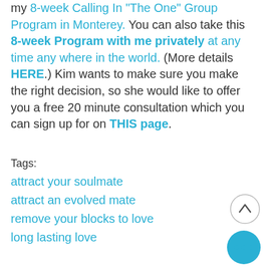my 8-week Calling In "The One" Group Program in Monterey. You can also take this 8-week Program with me privately at any time any where in the world. (More details HERE.) Kim wants to make sure you make the right decision, so she would like to offer you a free 20 minute consultation which you can sign up for on THIS page.
Tags:
attract your soulmate
attract an evolved mate
remove your blocks to love
long lasting love